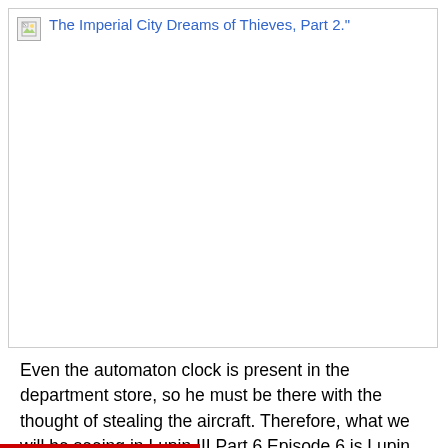[Figure (illustration): Broken/missing image placeholder with alt text: The Imperial City Dreams of Thieves, Part 2."]
Even the automaton clock is present in the department store, so he must be there with the thought of stealing the aircraft. Therefore, what we will be seeing in Lupin III Part 6 Episode 6 is Lupin trying to stop the real person from